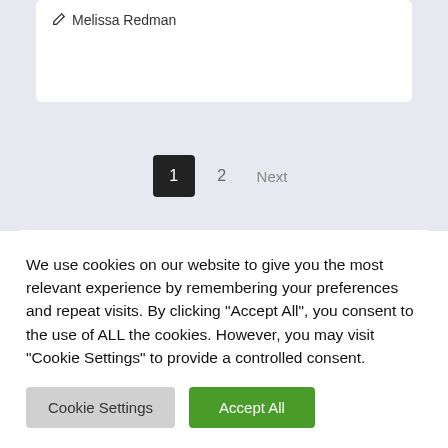✎ Melissa Redman
1  2  Next
LATEST TWEETS
Tweets from
Follow
We use cookies on our website to give you the most relevant experience by remembering your preferences and repeat visits. By clicking "Accept All", you consent to the use of ALL the cookies. However, you may visit "Cookie Settings" to provide a controlled consent.
Cookie Settings
Accept All